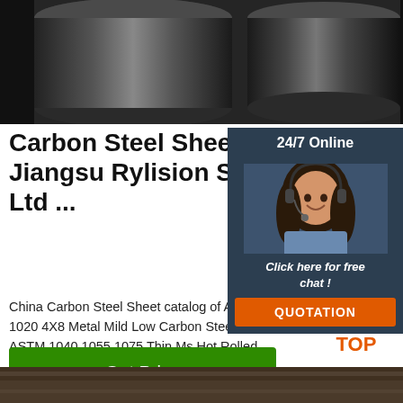[Figure (photo): Close-up photo of two dark metallic steel rods/cylinders on a dark background]
Carbon Steel Sheet - Jiangsu Rylision Steel Co., Ltd ...
[Figure (photo): 24/7 Online chat widget with female customer service agent wearing headset, with 'Click here for free chat!' text and orange QUOTATION button]
China Carbon Steel Sheet catalog of A106 1020 4X8 Metal Mild Low Carbon Steel Plate, ASTM 1040 1055 1075 Thin Ms Hot Rolled Carbon Steel Plate provided by China manufacturer - Jiangsu Rylision Steel Co., page1.
[Figure (logo): Orange TOP logo with dots arranged in a triangle above the letters TOP]
[Figure (photo): Bottom partial photo of steel material with dark brownish surface texture]